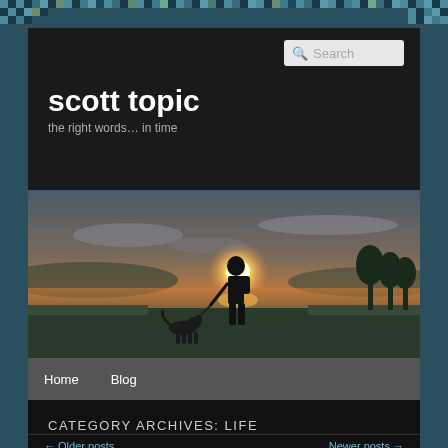scott topic
the right words… in time
[Figure (photo): A person walking at sunset near a lake with a dog, silhouetted against an orange and blue sky.]
Home   Blog
CATEGORY ARCHIVES: LIFE
← Older posts   Newer posts →